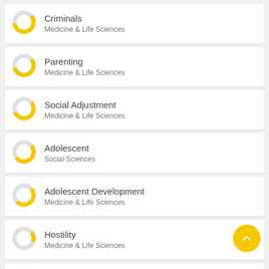Criminals — Medicine & Life Sciences
Parenting — Medicine & Life Sciences
Social Adjustment — Medicine & Life Sciences
Adolescent — Social Sciences
Adolescent Development — Medicine & Life Sciences
Hostility — Medicine & Life Sciences
Monitoring — Social Sciences